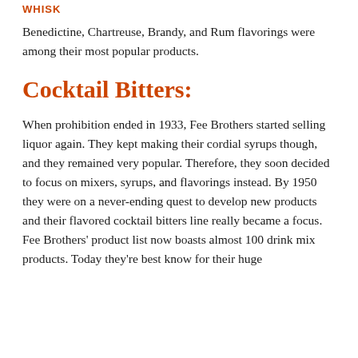Whisk
Benedictine, Chartreuse, Brandy, and Rum flavorings were among their most popular products.
Cocktail Bitters:
When prohibition ended in 1933, Fee Brothers started selling liquor again. They kept making their cordial syrups though, and they remained very popular. Therefore, they soon decided to focus on mixers, syrups, and flavorings instead. By 1950 they were on a never-ending quest to develop new products and their flavored cocktail bitters line really became a focus. Fee Brothers’ product list now boasts almost 100 drink mix products. Today they’re best know for their huge